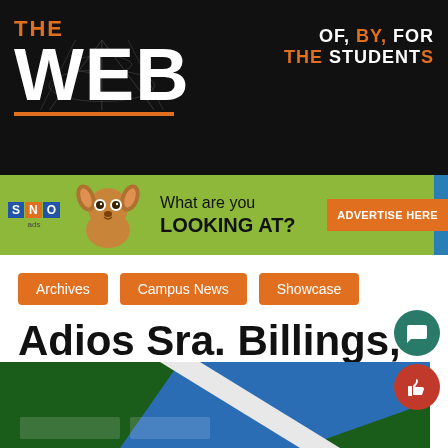THE WEB — OF, BY, FOR THE STUDENTS
[Figure (screenshot): SNO ads banner with chihuahua dog image and text 'What are you LOOKING AT?' and orange 'ADVERTISE HERE' button]
Archives
Campus News
Showcase
Adios Sra. Billings, ¿Hola Jurg?
[Figure (photo): Bottom portion of article showing a blue and green street sign or school sign cropped at the bottom of the page]